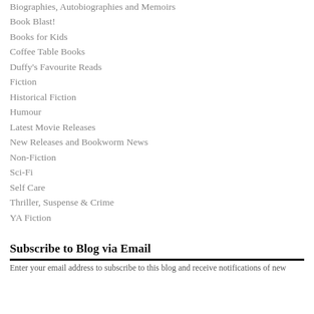Biographies, Autobiographies and Memoirs
Book Blast!
Books for Kids
Coffee Table Books
Duffy's Favourite Reads
Fiction
Historical Fiction
Humour
Latest Movie Releases
New Releases and Bookworm News
Non-Fiction
Sci-Fi
Self Care
Thriller, Suspense & Crime
YA Fiction
Subscribe to Blog via Email
Enter your email address to subscribe to this blog and receive notifications of new